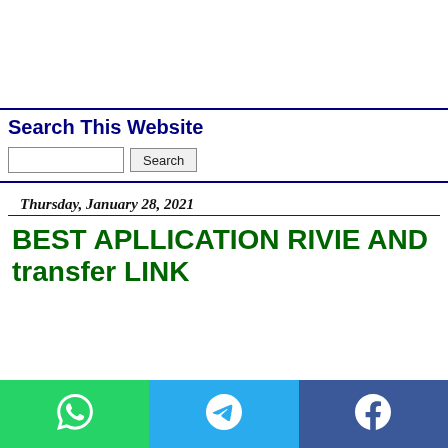[Figure (other): White advertisement/banner area at top of page]
Search This Website
Search input field and Search button
Thursday, January 28, 2021
BEST APLLICATION RIVIE AND transfer LINK
[Figure (other): Social share bar with WhatsApp, Telegram, and Facebook buttons]